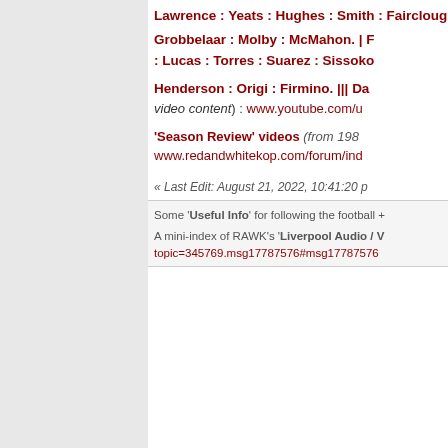Lawrence : Yeats : Hughes : Smith : Fairclough : Johnson : Whelan : J
Grobbelaar : Molby : McMahon. | F : Lucas : Torres : Suarez : Sissoko
Henderson : Origi : Firmino. ||| Da video content) : www.youtube.com/u
'Season Review' videos (from 198... www.redandwhitekop.com/forum/ind
« Last Edit: August 21, 2022, 10:41:20 p
Some 'Useful Info' for following the football +
A mini-index of RAWK's 'Liverpool Audio / V topic=345769.msg17787576#msg17787576
duvva
RAWK Supporter
Legacy Fan
Re: Ian Llanfairpwllgwyng drobwllllantysiliogogogoc
« Reply #20 on: February 27, 2022, 10: